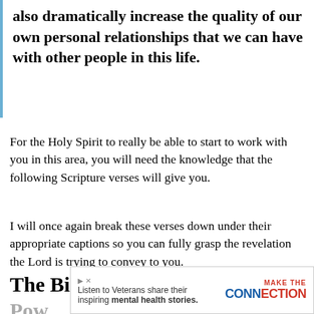also dramatically increase the quality of our own personal relationships that we can have with other people in this life.
For the Holy Spirit to really be able to start to work with you in this area, you will need the knowledge that the following Scripture verses will give you.
I will once again break these verses down under their appropriate captions so you can fully grasp the revelation the Lord is trying to convey to you.
The Bible Verses For The Pow...
[Figure (other): Advertisement banner: 'Listen to Veterans share their inspiring mental health stories. MAKE THE CONNECTION']